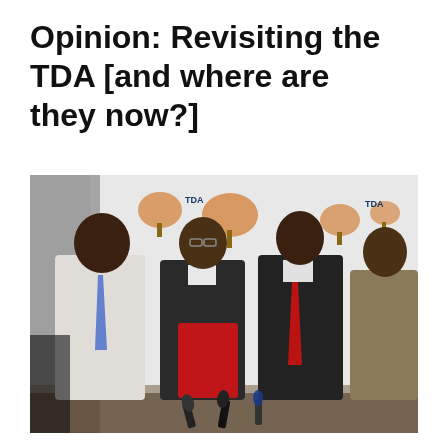Opinion: Revisiting the TDA [and where are they now?]
[Figure (photo): Four men standing in front of a TDA (Tanzania Development Authority) branded backdrop. The man on the left wears a white checked shirt and blue tie; the second man wears a dark suit and glasses and holds a red folder; the third man wears a dark suit with a red tie; the fourth man on the right wears a light-colored shirt. Microphones are visible on the table in the foreground.]